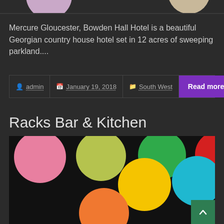[Figure (illustration): Top portion of page showing two partially visible circles: a lavender/mauve circle on the left and a beige/tan circle on the right, cropped at the top edge of the page, against a dark background.]
Mercure Gloucester, Bowden Hall Hotel is a beautiful Georgian country house hotel set in 12 acres of sweeping parkland....
admin  January 19, 2018  South West  Read more
Racks Bar & Kitchen
[Figure (photo): Dark background image with large colorful polka dots: pink (top-left), yellow-green (top-center-left), green (top-center-right), red (top-right), yellow (center), cyan/teal (right of center), orange (bottom-center), light blue (bottom-right corner). A green 'back to top' button with a chevron is visible in the bottom-right corner.]